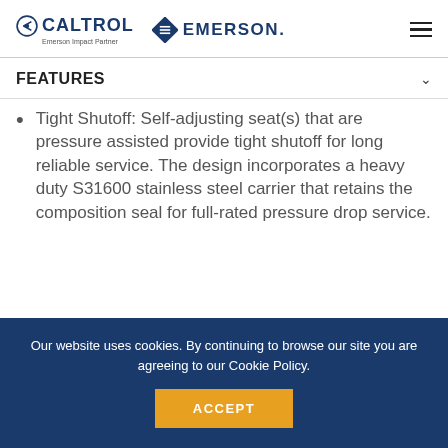CALTROL Emerson Impact Partner | EMERSON
FEATURES
Tight Shutoff: Self-adjusting seat(s) that are pressure assisted provide tight shutoff for long reliable service. The design incorporates a heavy duty S31600 stainless steel carrier that retains the composition seal for full-rated pressure drop service.
Our website uses cookies. By continuing to browse our site you are agreeing to our Cookie Policy.